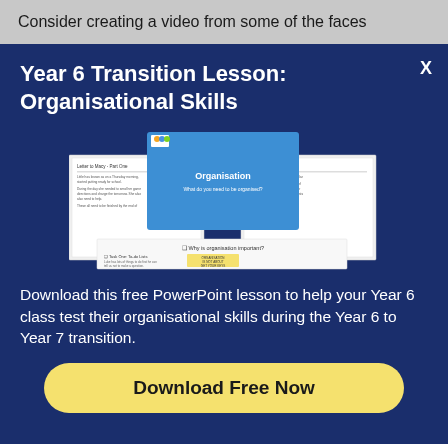Consider creating a video from some of the faces
Year 6 Transition Lesson: Organisational Skills
[Figure (screenshot): Preview thumbnail of a PowerPoint lesson about Organisation, showing multiple worksheet pages with text and a blue title slide reading 'Organisation']
Download this free PowerPoint lesson to help your Year 6 class test their organisational skills during the Year 6 to Year 7 transition.
Download Free Now